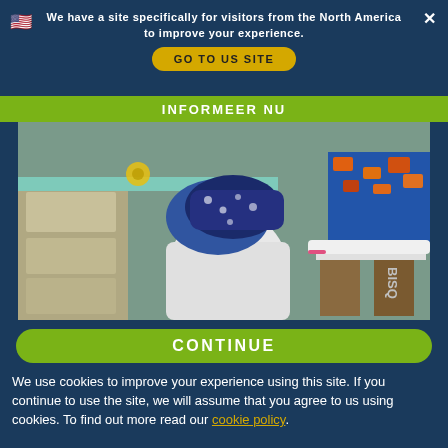We have a site specifically for visitors from the North America to improve your experience.
GO TO US SITE
INFORMEER NU
[Figure (photo): A person wearing blue latex gloves handling fabric/textiles in what appears to be a laundry or textile processing workspace, with shelving and an ironing board visible.]
CONTINUE
We use cookies to improve your experience using this site. If you continue to use the site, we will assume that you agree to us using cookies. To find out more read our cookie policy.